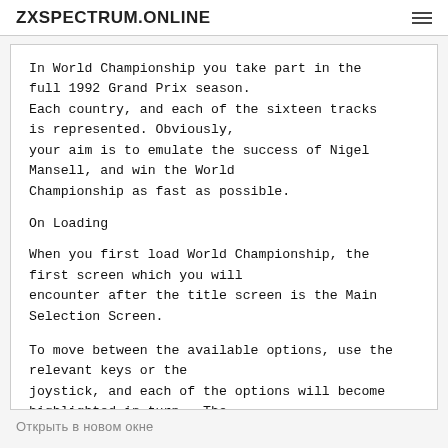ZXSPECTRUM.ONLINE
In World Championship you take part in the full 1992 Grand Prix season.
Each country, and each of the sixteen tracks is represented. Obviously,
your aim is to emulate the success of Nigel Mansell, and win the World Championship as fast as possible.
On Loading
When you first load World Championship, the first screen which you will encounter after the title screen is the Main Selection Screen.
To move between the available options, use the relevant keys or the joystick, and each of the options will become highlighted in turn.  The
Открыть в новом окне